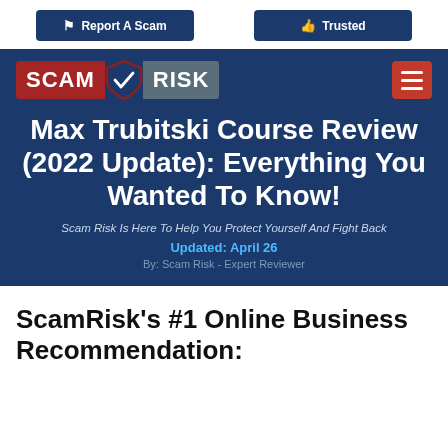Report A Scam | Trusted
[Figure (logo): Scam Risk logo with red SCAM text block, shield with checkmark, and gray RISK text block]
Max Trubitski Course Review (2022 Update): Everything You Wanted To Know!
Scam Risk Is Here To Help You Protect Yourself And Fight Back
Updated: April 26
By: Scam Risk - Expert Reviewer
ScamRisk's #1 Online Business Recommendation: